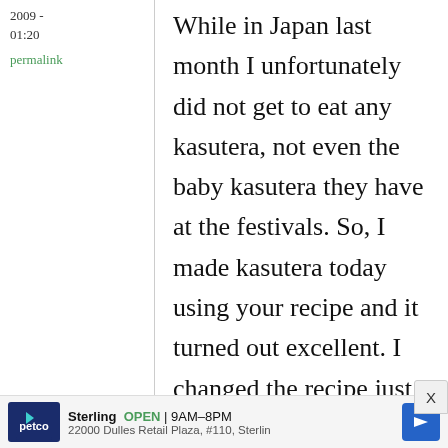2009 -
01:20
permalink
While in Japan last month I unfortunately did not get to eat any kasutera, not even the baby kasutera they have at the festivals. So, I made kasutera today using your recipe and it turned out excellent. I changed the recipe just a teensy bit by
Sterling OPEN | 9AM–8PM
22000 Dulles Retail Plaza, #110, Sterling